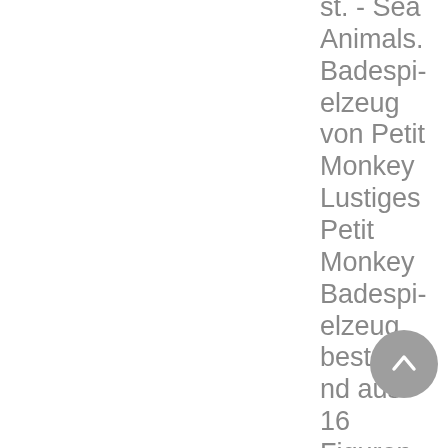st. - Sea Animals. Badespielzeug von Petit Monkey Lustiges Petit Monkey Badespielzeug bestehend aus 16 Figuren, die verschiedene Tiere aus...